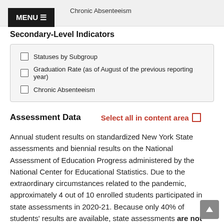Chronic Absenteeism
Secondary-Level Indicators
Statuses by Subgroup
Graduation Rate (as of August of the previous reporting year)
Chronic Absenteeism
Assessment Data   Select all in content area
Annual student results on standardized New York State assessments and biennial results on the National Assessment of Education Progress administered by the National Center for Educational Statistics. Due to the extraordinary circumstances related to the pandemic, approximately 4 out of 10 enrolled students participated in state assessments in 2020-21. Because only 40% of students' results are available, state assessments are not representative